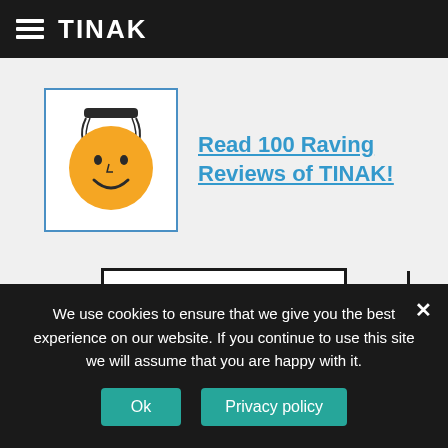TINAK
[Figure (illustration): Smiley face with orange circle face, black hair, and squiggly hair strands, inside a blue-bordered square frame]
Read 100 Raving Reviews of TINAK!
[Figure (logo): Main Gallery logo with text 'MAIN GALLERY' and colored squares (cyan, red, yellow) on the right side]
We use cookies to ensure that we give you the best experience on our website. If you continue to use this site we will assume that you are happy with it.
Ok
Privacy policy